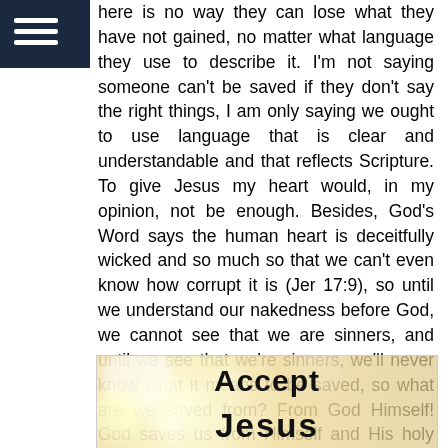☰ (hamburger menu icon)
here is no way they can lose what they have not gained, no matter what language they use to describe it. I'm not saying someone can't be saved if they don't say the right things, I am only saying we ought to use language that is clear and understandable and that reflects Scripture. To give Jesus my heart would, in my opinion, not be enough. Besides, God's Word says the human heart is deceitfully wicked and so much so that we can't even know how corrupt it is (Jer 17:9), so until we understand our nakedness before God, we cannot see that we are sinners, and until we see that we're sinners, we'll never know what it means to be saved, so what are we saved from? From God Himself! God saves us from Himself and His holy wrath which abides on all who disbelieve (John 3:36b), but that's good because God's wrath makes God's mercy highly relevant!
[Figure (photo): Bokeh background image with large bold text reading 'Accept' and below it 'Jesus' (partially visible), gold/cream colored bokeh circles on warm background]